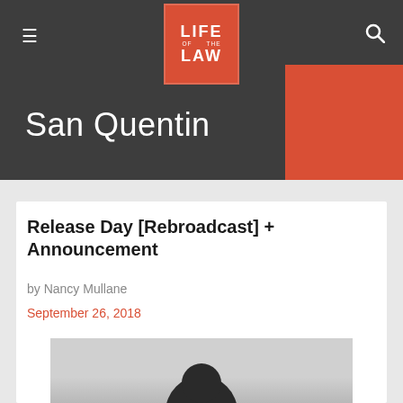Life of the Law
San Quentin
Release Day [Rebroadcast] + Announcement
by Nancy Mullane
September 26, 2018
[Figure (photo): Black and white photo of a man's profile/silhouette against a light sky background]